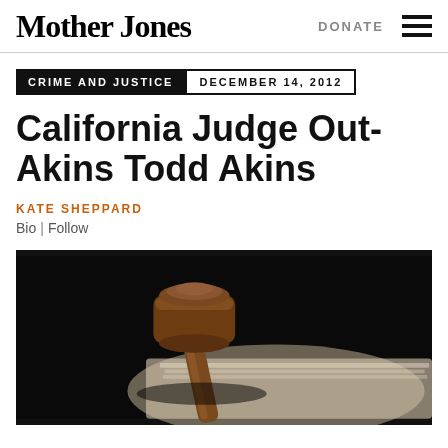Mother Jones | DONATE
CRIME AND JUSTICE  DECEMBER 14, 2012
California Judge Out-Akins Todd Akins
KATE SHEPPARD
Bio | Follow
[Figure (photo): A wooden judge's gavel resting on papers, photographed against a dark background with shallow depth of field.]